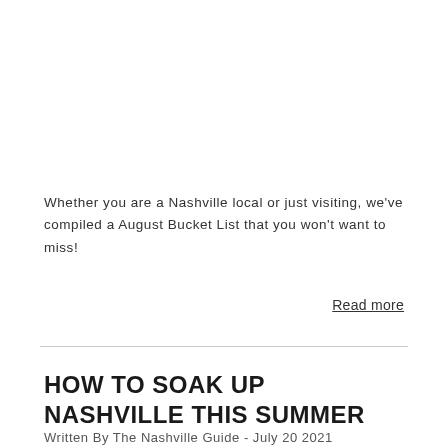Whether you are a Nashville local or just visiting, we've compiled a August Bucket List that you won't want to miss!
Read more
HOW TO SOAK UP NASHVILLE THIS SUMMER
Written By The Nashville Guide - July 20 2021